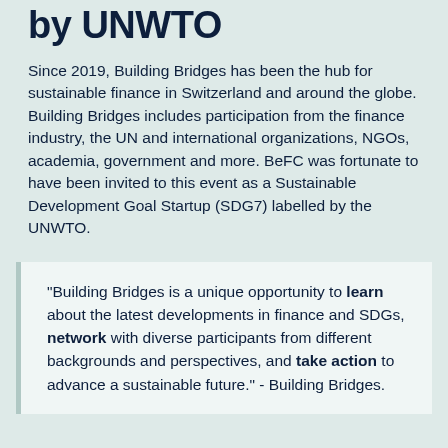by UNWTO
Since 2019, Building Bridges has been the hub for sustainable finance in Switzerland and around the globe. Building Bridges includes participation from the finance industry, the UN and international organizations, NGOs, academia, government and more. BeFC was fortunate to have been invited to this event as a Sustainable Development Goal Startup (SDG7) labelled by the UNWTO.
"Building Bridges is a unique opportunity to learn about the latest developments in finance and SDGs, network with diverse participants from different backgrounds and perspectives, and take action to advance a sustainable future." - Building Bridges.